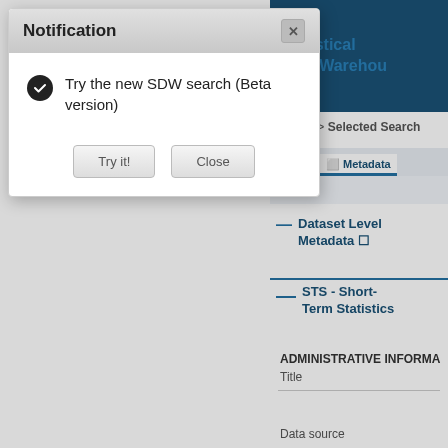Notification
Try the new SDW search (Beta version)
Try it!   Close
Statistical Data Warehouse
Search > Selected Search
election   ⬜ Metadata
Dataset Level Metadata ⬜
STS - Short-Term Statistics
ADMINISTRATIVE INFORMA
Title
Data source
ECB/Eurosystem policy and exchange rates
Money, credit and banking
Financial corporations
Financial markets and interest rates
Macroeconomic and sectoral statistics
Balance of payments and other external statistics
Supervisory and prudential statistics